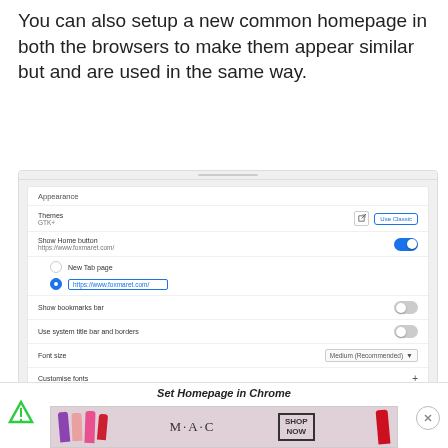You can also setup a new common homepage in both the browsers to make them appear similar but and are used in the same way.
[Figure (screenshot): Chrome browser Appearance settings panel showing Themes (GTK+) with Use Classic button, Show home button toggle (on) with https://www.foxmaret.com/, radio buttons for New Tab page and URL input, Show bookmarks bar toggle (off), Use system title bar and borders toggle (off), Font size dropdown (Medium Recommended), Customise fonts with plus icon, and Page zoom dropdown (100%).]
Set Homepage in Chrome
[Figure (photo): Advertisement banner showing MAC cosmetics lipsticks with SHOP NOW button]